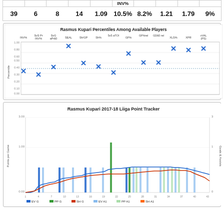|  |  |  |  |  | INV% |  |  |  |  |
| --- | --- | --- | --- | --- | --- | --- | --- | --- | --- |
| 39 | 6 | 8 | 14 | 1.09 | 10.5% | 8.2% | 1.21 | 1.79 | 9% |
[Figure (scatter-plot): Rasmus Kupari Percentiles Among Available Players]
[Figure (line-chart): Points per game line chart with Goals & Assists bars over games, multiple series: EV G, PP G, SH G, EV A1, PP A1, SH A1]